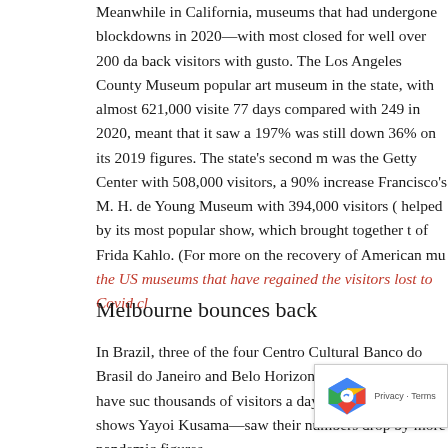Meanwhile in California, museums that had undergone brutal lockdowns in 2020—with most closed for well over 200 da... back visitors with gusto. The Los Angeles County Museum popular art museum in the state, with almost 621,000 viste 77 days compared with 249 in 2020, meant that it saw a 197% was still down 36% on its 2019 figures. The state's second m was the Getty Center with 508,000 visitors, a 90% increase Francisco's M. H. de Young Museum with 394,000 visitors ( helped by its most popular show, which brought together t of Frida Kahlo. (For more on the recovery of American mu the US museums that have regained the visitors lost to Covid cl...
Melbourne bounces back
In Brazil, three of the four Centro Cultural Banco do Brasil do Janeiro and Belo Horizonte—which in the past have suc thousands of visitors a day to blockbuster shows Yayoi Kusama—saw their numbers drop by more pandemic figures.